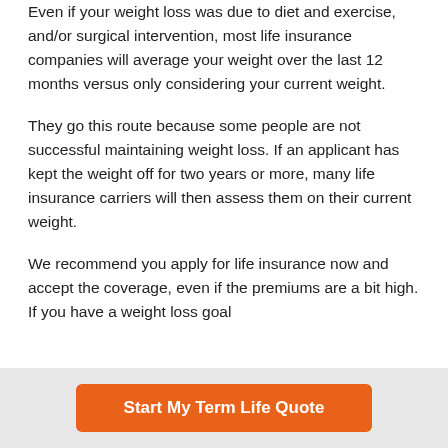Even if your weight loss was due to diet and exercise, and/or surgical intervention, most life insurance companies will average your weight over the last 12 months versus only considering your current weight.
They go this route because some people are not successful maintaining weight loss. If an applicant has kept the weight off for two years or more, many life insurance carriers will then assess them on their current weight.
We recommend you apply for life insurance now and accept the coverage, even if the premiums are a bit high. If you have a weight loss goal
Start My Term Life Quote